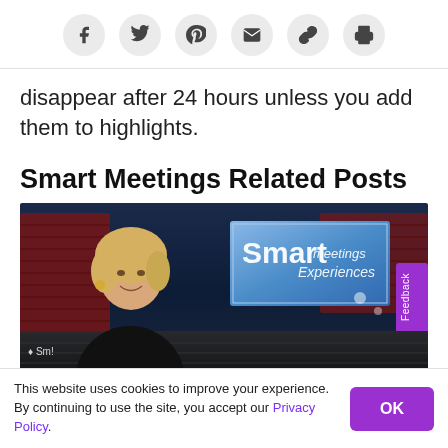Social share icons: Facebook, Twitter, Pinterest, Email, Link, Print
disappear after 24 hours unless you add them to highlights.
Smart Meetings Related Posts
[Figure (photo): A woman with blonde hair in a black outfit standing at a stadium at night, with a large LED screen displaying 'Smart Meetings Experiences' in the background.]
This website uses cookies to improve your experience. By continuing to use the site, you accept our Privacy Policy.